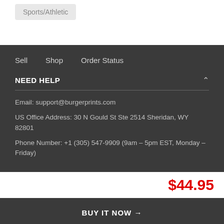Sports/Athletic
Sell
Shop
Order Status
NEED HELP
Email: support@burgerprints.com
US Office Address: 30 N Gould St Ste 2514 Sheridan, WY 82801
Phone Number: +1 (305) 547-9909 (9am – 5pm EST, Monday – Friday)
$44.95
BUY IT NOW →